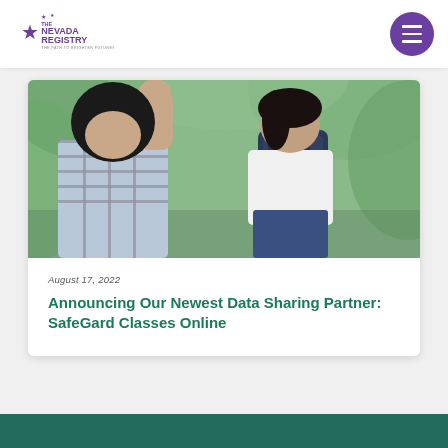The Nevada Registry — The Path to Brighter Futures
[Figure (photo): Photo of two children, one waving with hand raised wearing a plaid shirt, the other wearing a white top and blue backpack, outdoors with greenery in background]
August 17, 2022
Announcing Our Newest Data Sharing Partner: SafeGard Classes Online